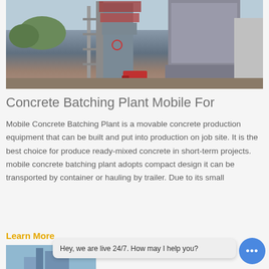[Figure (photo): Industrial concrete batching plant / asphalt mixing tower with tall metal structure, scaffolding, large storage tanks or silos on the right, trees in background, red truck visible at base, outdoor industrial facility]
Concrete Batching Plant Mobile For
Mobile Concrete Batching Plant is a movable concrete production equipment that can be built and put into production on job site. It is the best choice for produce ready-mixed concrete in short-term projects. mobile concrete batching plant adopts compact design it can be transported by container or hauling by trailer. Due to its small
Learn More
[Figure (photo): Partial view of another concrete batching plant equipment, blue-tinted image at bottom of page]
Hey, we are live 24/7. How may I help you?